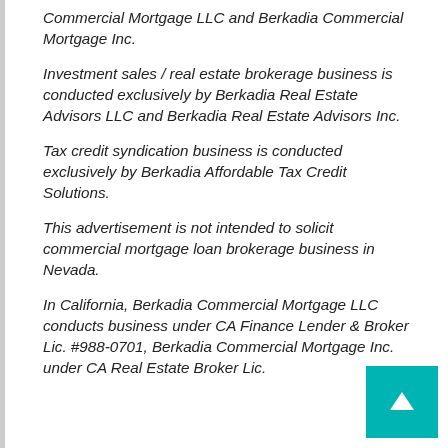Commercial Mortgage LLC and Berkadia Commercial Mortgage Inc.
Investment sales / real estate brokerage business is conducted exclusively by Berkadia Real Estate Advisors LLC and Berkadia Real Estate Advisors Inc.
Tax credit syndication business is conducted exclusively by Berkadia Affordable Tax Credit Solutions.
This advertisement is not intended to solicit commercial mortgage loan brokerage business in Nevada.
In California, Berkadia Commercial Mortgage LLC conducts business under CA Finance Lender & Broker Lic. #988-0701, Berkadia Commercial Mortgage Inc. under CA Real Estate Broker Lic.